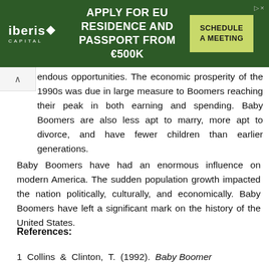[Figure (other): Advertisement banner: Iberis Capital — Apply for EU Residence and Passport from €500K. Schedule a Meeting button.]
endous opportunities. The economic prosperity of the 1990s was due in large measure to Boomers reaching their peak in both earning and spending. Baby Boomers are also less apt to marry, more apt to divorce, and have fewer children than earlier generations.
Baby Boomers have had an enormous influence on modern America. The sudden population growth impacted the nation politically, culturally, and economically. Baby Boomers have left a significant mark on the history of the United States.
References:
1  Collins  &  Clinton,  T.  (1992).  Baby Boomer